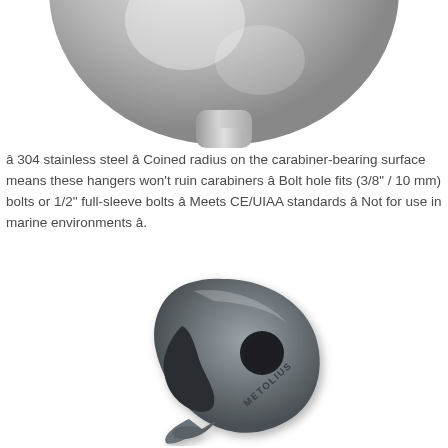[Figure (photo): Close-up photo of the top portion of a stainless steel bolt hanger showing a polished rounded metallic surface.]
✦ 304 stainless steel ✦ Coined radius on the carabiner-bearing surface means these hangers won't ruin carabiners ✦ Bolt hole fits (3/8" / 10 mm) bolts or 1/2" full-sleeve bolts ✦ Meets CE/UIAA standards ✦ Not for use in marine environments ✦.
[Figure (photo): Photo of a Metolius stainless steel climbing bolt hanger — a triangular/teardrop shaped metal piece with a round bolt hole and a triangular loop opening, with 'METOLIUS' embossed on it.]